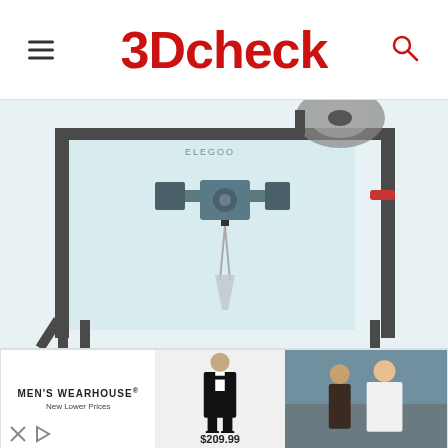3Dcheck
[Figure (photo): 3D printer product photo showing a large open-frame FDM 3D printer with filament spool on top, light blue transparent panels, dark grey metal frame, with print head assembly visible and a partially printed object hanging from the nozzle]
[Figure (photo): Men's Wearhouse advertisement banner showing a man in a black tuxedo with price $209.99 and a couple in formal wear]